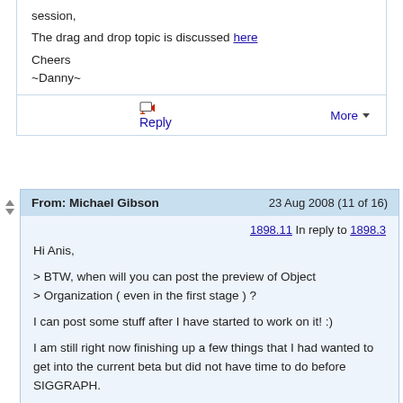session,
The drag and drop topic is discussed here
Cheers
~Danny~
Reply   More
From: Michael Gibson   23 Aug 2008 (11 of 16)
1898.11 In reply to 1898.3
Hi Anis,

> BTW, when will you can post the preview of Object
> Organization ( even in the first stage ) ?

I can post some stuff after I have started to work on it! :)

I am still right now finishing up a few things that I had wanted to get into the current beta but did not have time to do before SIGGRAPH.

It's not too much stuff but it may take me about another week to